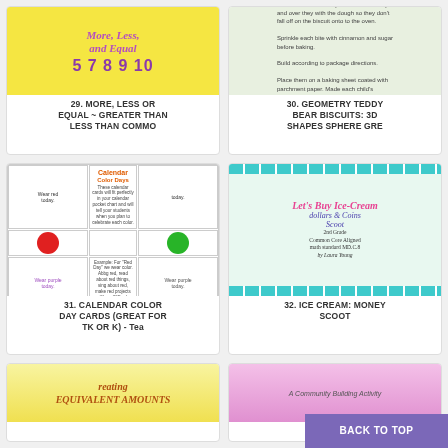[Figure (illustration): Item 29 thumbnail: More, Less and Equal - Greater Than Less Than math activity with colorful numbers on yellow background]
29. MORE, LESS OR EQUAL ~ GREATER THAN LESS THAN COMMO
[Figure (illustration): Item 30 thumbnail: Geometry Teddy Bear Biscuits 3D shapes activity card with bear and instructions]
30. GEOMETRY TEDDY BEAR BISCUITS: 3D SHAPES SPHERE GRE
[Figure (illustration): Item 31 thumbnail: Calendar Color Day Cards showing colored circles (red, green, yellow, purple, blue, orange) in a grid]
31. CALENDAR COLOR DAY CARDS (GREAT FOR TK OR K) - Tea
[Figure (illustration): Item 32 thumbnail: Let's Buy Ice-Cream Dollars and Coins Scoot - 2nd Grade Common Core Aligned math standard MD.C.8 by Laura Young]
32. ICE CREAM: MONEY SCOOT
[Figure (illustration): Item 33 thumbnail: Creating Equivalent Amounts activity on yellow background]
[Figure (illustration): Item 34 thumbnail: A Community Building Activity on pink/purple background]
BACK TO TOP